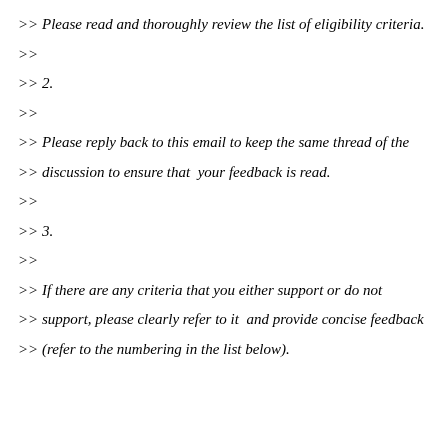>> Please read and thoroughly review the list of eligibility criteria.
>>
>> 2.
>>
>> Please reply back to this email to keep the same thread of the
>> discussion to ensure that  your feedback is read.
>>
>> 3.
>>
>> If there are any criteria that you either support or do not
>> support, please clearly refer to it  and provide concise feedback
>> (refer to the numbering in the list below).